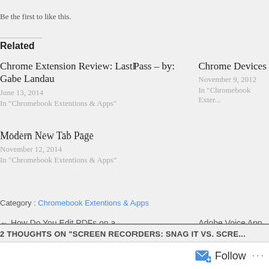Be the first to like this.
Related
Chrome Extension Review: LastPass – by: Gabe Landau
June 13, 2014
In "Chromebook Extentions & Apps"
Chrome Devices
November 9, 2012
In "Chromebook Exte..."
Modern New Tab Page
November 12, 2014
In "Chromebook Extentions & Apps"
Category : Chromebook Extentions & Apps
← How Do You Edit PDFs on a Chromebook? by Gabe Landau
Adobe Voice App R...
2 THOUGHTS ON "SCREEN RECORDERS: SNAG IT VS. SCRE..."